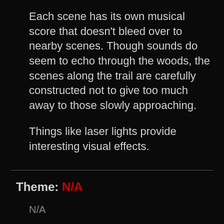Each scene has its own musical score that doesn't bleed over to nearby scenes. Though sounds do seem to echo through the woods, the scenes along the trail are carefully constructed not to give too much away to those slowly approaching.
Things like laser lights provide interesting visual effects.
Theme: N/A
N/A